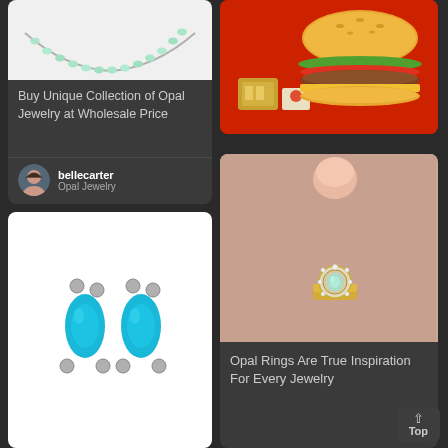[Figure (photo): Opal necklace on white background]
Buy Unique Collection of Opal Jewelry at Wholesale Price
bellecarter
Opal Jewelry
[Figure (illustration): Burger with bun, lettuce, tomato, cheese on red background with side items]
[Figure (photo): Two blue opal stud earrings with silver prong settings on white background]
[Figure (photo): Close-up of hand wearing gold opal ring with diamond halo setting]
Opal Rings Are True Inspiration For Every Jewelry